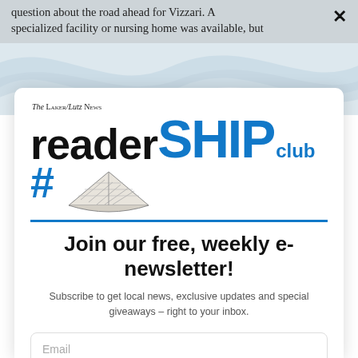question about the road ahead for Vizzari. A specialized facility or nursing home was available, but
[Figure (illustration): The Laker/Lutz News readerSHIP club logo with a paper boat made of newspaper, bold black 'reader' text and blue 'SHIP club' text, with a blue hashtag and underline]
Join our free, weekly e-newsletter!
Subscribe to get local news, exclusive updates and special giveaways – right to your inbox.